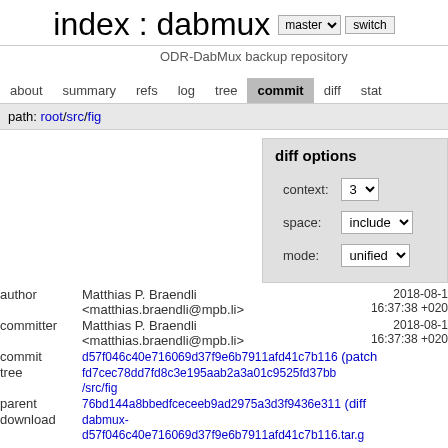index : dabmux
ODR-DabMux backup repository
about   summary   refs   log   tree   commit   diff   stat
path: root/src/fig
diff options
| field | value |
| --- | --- |
| context: | 3 |
| space: | include |
| mode: | unified |
| field | value1 | value2 |
| --- | --- | --- |
| author | Matthias P. Braendli <matthias.braendli@mpb.li> | 2018-08-1 16:37:38 +020 |
| committer | Matthias P. Braendli <matthias.braendli@mpb.li> | 2018-08-1 16:37:38 +020 |
| commit | d57f046c40e716069d37f9e6b7911afd41c7b116 (patch) |  |
| tree | fd7cec78dd7fd8c3e195aab2a3a01c9525fd37bb /src/fig |  |
| parent | 76bd144a8bbedfceceeb9ad2975a3d3f9436e311 (diff) |  |
| download | dabmux-d57f046c40e716069d37f9e6b7911afd41c7b116.tar.gz |  |